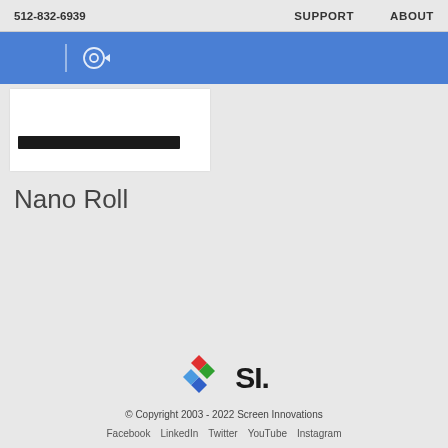512-832-6939   SUPPORT   ABOUT
[Figure (logo): Blue navigation band with eye/play icon logo and vertical divider line]
[Figure (photo): Partial product image showing bottom of Nano Roll device with black bar, white product box background]
Nano Roll
[Figure (logo): Screen Innovations SI logo: four colored diamonds (red, green, blue, light blue) arranged in X pattern, followed by bold SI. text]
© Copyright 2003 - 2022 Screen Innovations
Facebook  LinkedIn  Twitter  YouTube  Instagram